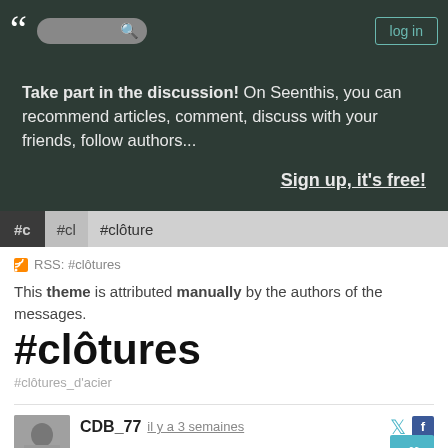[Figure (screenshot): Website navigation bar with quotation mark logo, search box, and log in button on dark green background]
Take part in the discussion! On Seenthis, you can recommend articles, comment, discuss with your friends, follow authors...
Sign up, it's free!
#c  #cl  #clôture
RSS: #clôtures
This theme is attributed manually by the authors of the messages.
#clôtures
#clôtures_d'acier
CDB_77   il y a 3 semaines
À #Calais, une #surveillance du ciel au tunnel